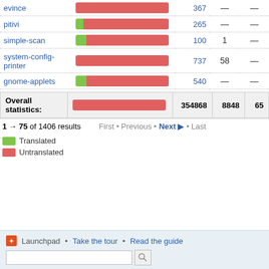| Package | Progress | Total | Col4 | Col5 |
| --- | --- | --- | --- | --- |
| evince | [bar] | 367 | — | — |
| pitivi | [bar] | 265 | — | — |
| simple-scan | [bar] | 100 | 1 | — |
| system-config-printer | [bar] | 737 | 58 | — |
| gnome-applets | [bar] | 540 | — | — |
| Overall statistics: | [bar] | 354868 | 8848 | 65 |
1 → 75 of 1406 results   First • Previous • Next ▶ • Last
Translated
Untranslated
Launchpad • Take the tour • Read the guide